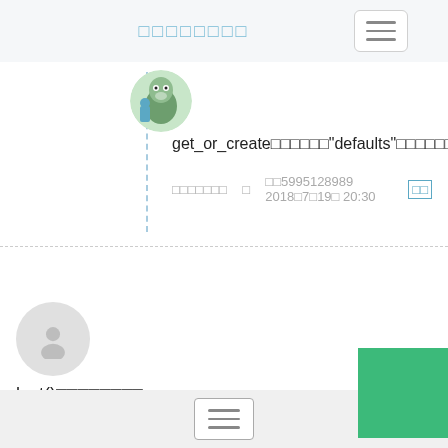□□□□□□□□
[Figure (illustration): Totoro character avatar image (circular profile photo)]
get_or_create□□□□□□"defaults"□□□□□□□□□□□□□□
□□□□□□□  □  □□5995128989 2018□7□19□ 20:30  □□
[Figure (illustration): Generic user avatar (gray circle with person silhouette)]
last()□□□□□□□□
By  □□-wl  On  2018□1□24□ 15:05  □□